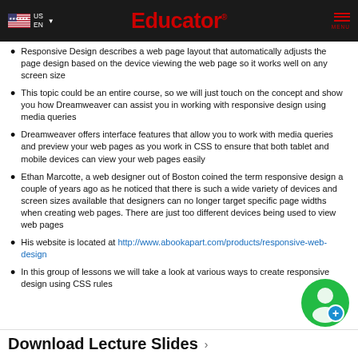US EN | Educator | MENU
Responsive Design describes a web page layout that automatically adjusts the page design based on the device viewing the web page so it works well on any screen size
This topic could be an entire course, so we will just touch on the concept and show you how Dreamweaver can assist you in working with responsive design using media queries
Dreamweaver offers interface features that allow you to work with media queries and preview your web pages as you work in CSS to ensure that both tablet and mobile devices can view your web pages easily
Ethan Marcotte, a web designer out of Boston coined the term responsive design a couple of years ago as he noticed that there is such a wide variety of devices and screen sizes available that designers can no longer target specific page widths when creating web pages. There are just too different devices being used to view web pages
His website is located at http://www.abookapart.com/products/responsive-web-design
In this group of lessons we will take a look at various ways to create responsive design using CSS rules
Download Lecture Slides